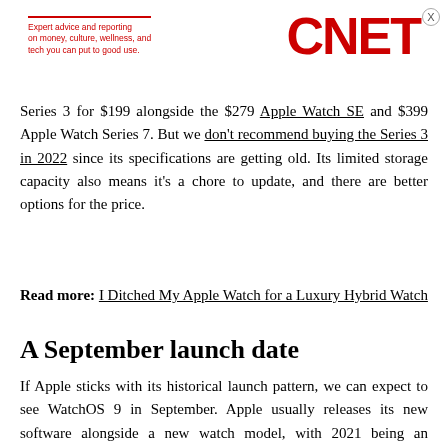Expert advice and reporting on money, culture, wellness, and tech you can put to good use. CNET
Series 3 for $199 alongside the $279 Apple Watch SE and $399 Apple Watch Series 7. But we don't recommend buying the Series 3 in 2022 since its specifications are getting old. Its limited storage capacity also means it's a chore to update, and there are better options for the price.
Read more: I Ditched My Apple Watch for a Luxury Hybrid Watch
A September launch date
If Apple sticks with its historical launch pattern, we can expect to see WatchOS 9 in September. Apple usually releases its new software alongside a new watch model, with 2021 being an exception. (Apple launched WatchOS 8 in September, but didn't release the Apple Watch Series 7 until October).